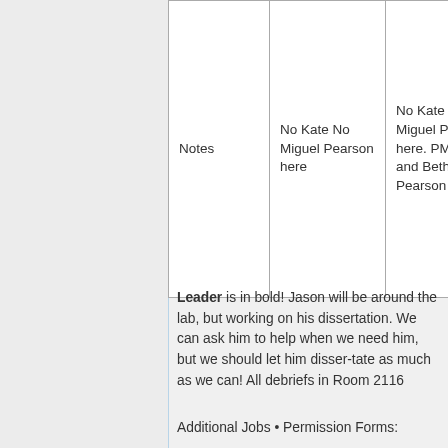| Notes | No Kate No Miguel Pearson here | No Kate No Miguel Pearson here. PM - ML and Beth B train Pearson |
Leader is in bold! Jason will be around the lab, but working on his dissertation. We can ask him to help when we need him, but we should let him disser-tate as much as we can! All debriefs in Room 2116
Additional Jobs • Permission Forms: